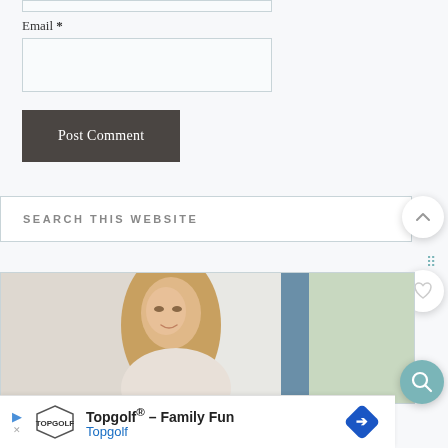[Figure (screenshot): Top portion of a web form input box (email field area), light blue-gray border, white background]
Email *
[Figure (screenshot): Email text input field, empty, with light border]
Post Comment
SEARCH THIS WEBSITE
[Figure (photo): A smiling woman with long blonde hair in a bright kitchen setting]
Topgolf® – Family Fun
Topgolf